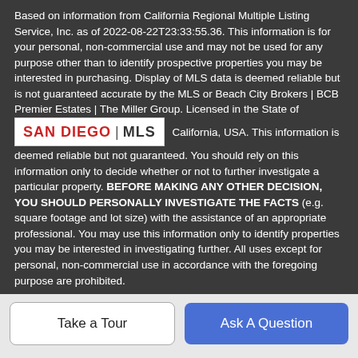Based on information from California Regional Multiple Listing Service, Inc. as of 2022-08-22T23:33:55.36. This information is for your personal, non-commercial use and may not be used for any purpose other than to identify prospective properties you may be interested in purchasing. Display of MLS data is deemed reliable but is not guaranteed accurate by the MLS or Beach City Brokers | BCB Premier Estates | The Miller Group. Licensed in the State of [SAN DIEGO|MLS logo] California, USA. This information is deemed reliable but not guaranteed. You should rely on this information only to decide whether or not to further investigate a particular property. BEFORE MAKING ANY OTHER DECISION, YOU SHOULD PERSONALLY INVESTIGATE THE FACTS (e.g. square footage and lot size) with the assistance of an appropriate professional. You may use this information only to identify properties you may be interested in investigating further. All uses except for personal, non-commercial use in accordance with the foregoing purpose are prohibited.
[Figure (logo): San Diego MLS logo — red bold text 'SAN DIEGO' followed by pipe and 'MLS' in dark text on white background]